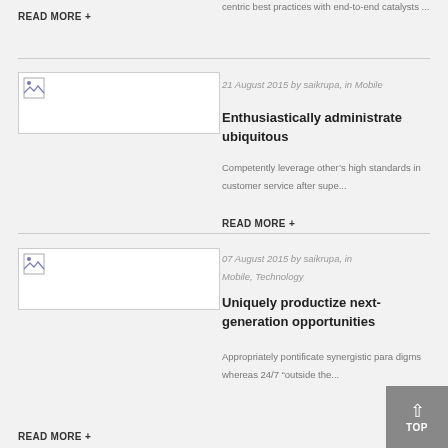centric best practices with end-to-end catalysts ...
READ MORE +
[Figure (photo): Broken image placeholder for article about Enthusiastically administrate ubiquitous]
21 August 2015 by saikrupa, in Mobile
Enthusiastically administrate ubiquitous
Competently leverage other’s high standards in customer service after supe...
READ MORE +
[Figure (photo): Broken image placeholder for article about Uniquely productize next-generation opportunities]
07 August 2015 by saikrupa, in Mobile, Technology
Uniquely productize next-generation opportunities
Appropriately pontificate synergistic para digms whereas 24/7 “outside the...
READ MORE +